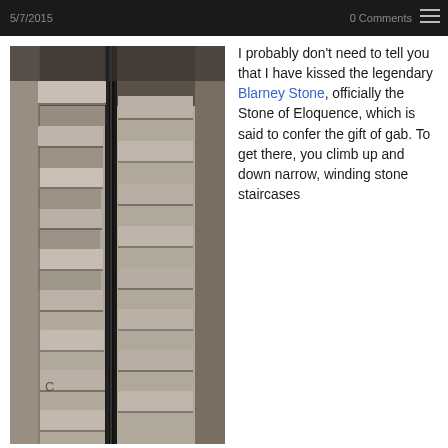5/7/2015   0 Comments
[Figure (photo): Black and white photograph of narrow, winding stone staircase inside a castle, viewed from above looking down, with stone walls on either side and a dark metal railing visible]
I probably don't need to tell you that I have kissed the legendary Blarney Stone, officially the Stone of Eloquence, which is said to confer the gift of gab. To get there, you climb up and down narrow, winding stone staircases